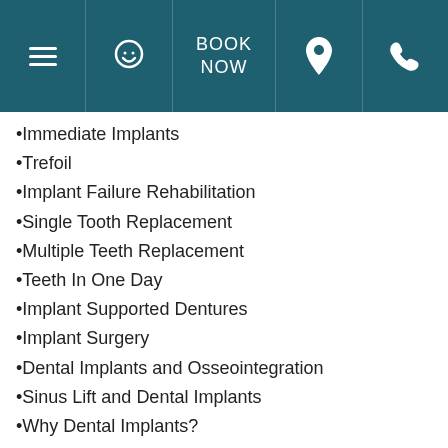BOOK NOW
Immediate Implants
Trefoil
Implant Failure Rehabilitation
Single Tooth Replacement
Multiple Teeth Replacement
Teeth In One Day
Implant Supported Dentures
Implant Surgery
Dental Implants and Osseointegration
Sinus Lift and Dental Implants
Why Dental Implants?
Why All-on-4® Treatment Concept?
Dental Implant Costs
Dental implants come with a wide variety of